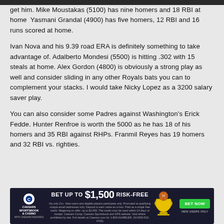get him. Mike Moustakas (5100) has nine homers and 18 RBI at home  Yasmani Grandal (4900) has five homers, 12 RBI and 16 runs scored at home.
Ivan Nova and his 9.39 road ERA is definitely something to take advantage of. Adalberto Mondesi (5500) is hitting .302 with 15 steals at home. Alex Gordon (4800) is obviously a strong play as well and consider sliding in any other Royals bats you can to complement your stacks. I would take Nicky Lopez as a 3200 salary saver play.
You can also consider some Padres against Washington's Erick Fedde. Hunter Renfroe is worth the 5000 as he has 18 of his homers and 35 RBI against RHPs. Franmil Reyes has 19 homers and 32 RBI vs. righties.
[Figure (infographic): Caesars Sportsbook & Casino advertisement banner: BET UP TO $1,500 RISK-FREE with a BET NOW button and basketball/trophy graphic. New users only.]